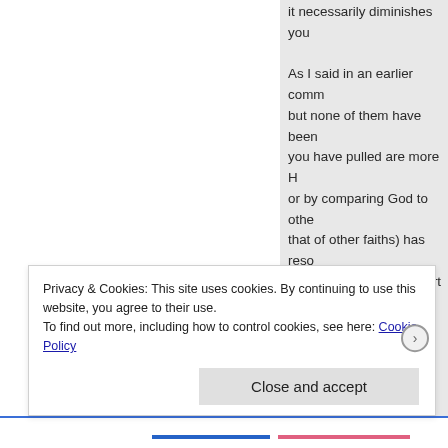it necessarily diminishes you

As I said in an earlier comm but none of them have been you have pulled are more H or by comparing God to othe that of other faiths) has reso fundamentally, at the start o God is manifested in Jesus from the grave and validate of Israel. Christians have be be, starting with the apostles Fathers, the ecumenical cre gospel message that is at th and is risen from the dead."
Privacy & Cookies: This site uses cookies. By continuing to use this website, you agree to their use.
To find out more, including how to control cookies, see here: Cookie Policy
Close and accept